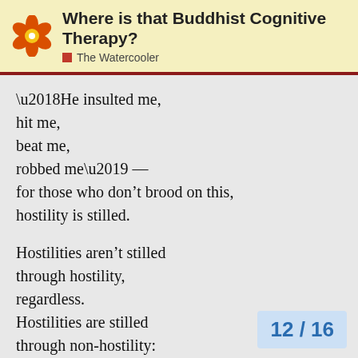Where is that Buddhist Cognitive Therapy? — The Watercooler
‘He insulted me,
hit me,
beat me,
robbed me’ —
for those who don’t brood on this,
hostility is stilled.

Hostilities aren’t stilled
through hostility,
regardless.
Hostilities are stilled
through non-hostility:
this, an unending truth.

Unlike those who don’t realize
that we’re here on the verge
of perishing,
12 / 16